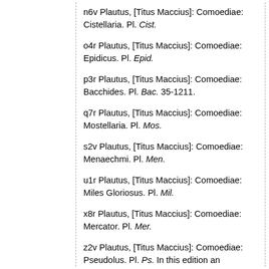n6v Plautus, [Titus Maccius]: Comoediae: Cistellaria. Pl. Cist.
o4r Plautus, [Titus Maccius]: Comoediae: Epidicus. Pl. Epid.
p3r Plautus, [Titus Maccius]: Comoediae: Bacchides. Pl. Bac. 35-1211.
q7r Plautus, [Titus Maccius]: Comoediae: Mostellaria. Pl. Mos.
s2v Plautus, [Titus Maccius]: Comoediae: Menaechmi. Pl. Men.
u1r Plautus, [Titus Maccius]: Comoediae: Miles Gloriosus. Pl. Mil.
x8r Plautus, [Titus Maccius]: Comoediae: Mercator. Pl. Mer.
z2v Plautus, [Titus Maccius]: Comoediae: Pseudolus. Pl. Ps. In this edition an additional 'argumentum' is printed first, with incipit, 'Sutedete(!) hodie mihi bona in scopam afforo | Nam bona bonis ferri...'